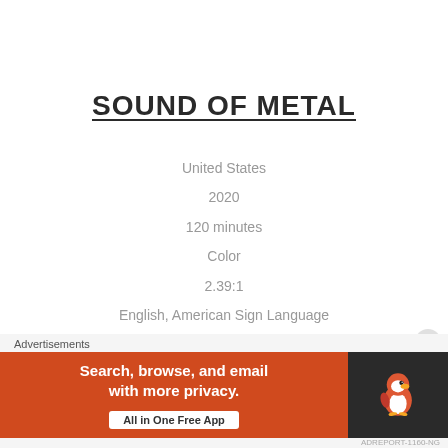SOUND OF METAL
United States
2020
120 minutes
Color
2.39:1
English, American Sign Language
Directed by Darius Marder
SPINE #1151
Advertisements
[Figure (other): DuckDuckGo advertisement banner: orange background on left with text 'Search, browse, and email with more privacy. All in One Free App', dark background on right with DuckDuckGo duck logo.]